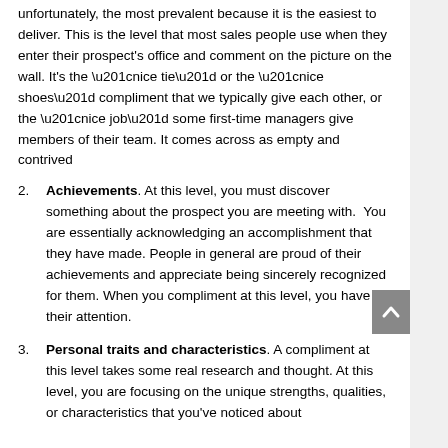unfortunately, the most prevalent because it is the easiest to deliver.  This is the level that most sales people use when they enter their prospect's office and comment on the picture on the wall.  It's the “nice tie” or the “nice shoes” compliment that we typically give each other, or the “nice job” some first-time managers give members of their team.  It comes across as empty and contrived
Achievements.  At this level, you must discover something about the prospect you are meeting with.  You are essentially acknowledging an accomplishment that they have made.  People in general are proud of their achievements and appreciate being sincerely recognized for them.  When you compliment at this level, you have their attention.
Personal traits and characteristics.  A compliment at this level takes some real research and thought.  At this level, you are focusing on the unique strengths, qualities, or characteristics that you’ve noticed about